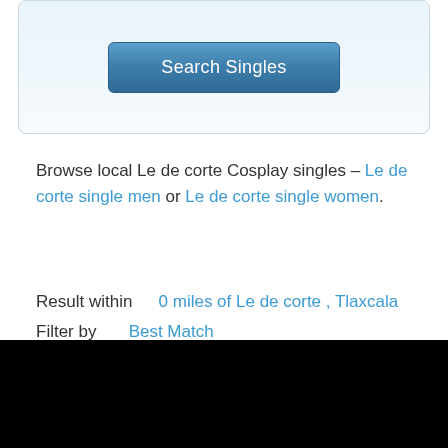[Figure (screenshot): Search Singles button inside a light blue rounded box]
Browse local Le de corte Cosplay singles – Le de corte single men or Le de corte single women.
Result within   0 miles of Le de corte , Tlaxcala
Filter by   Best Match
[Figure (other): Loading spinner icon]
[Figure (other): Red X close icon]